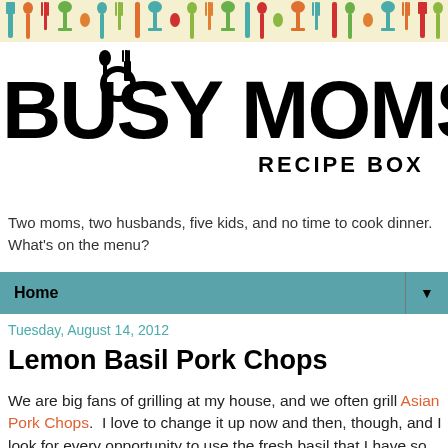[Figure (illustration): Colorful kitchen utensil icons banner strip on light yellow background - spoons, forks, knives, wine glasses in teal, orange, green, red colors]
[Figure (logo): Busy Moms' Recipe Box logo - large black bold text with spoon and fork icon replacing the U in Busy, 'RECIPE BOX' in smaller capitals below]
Two moms, two husbands, five kids, and no time to cook dinner. What's on the menu?
Home ▼
Tuesday, August 14, 2012
Lemon Basil Pork Chops
We are big fans of grilling at my house, and we often grill Asian Pork Chops.  I love to change it up now and then, though, and I look for every opportunity to use the fresh basil that I have so much of at this time of the year.  Fortunately, there are many delicious recipes that allow me to do that.